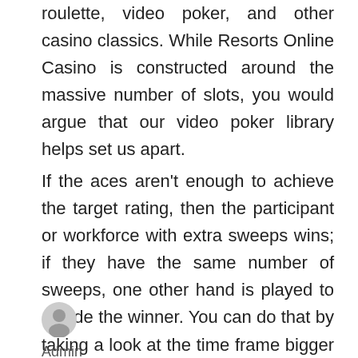roulette, video poker, and other casino classics. While Resorts Online Casino is constructed around the massive number of slots, you would argue that our video poker library helps set us apart.
If the aces aren't enough to achieve the target rating, then the participant or workforce with extra sweeps wins; if they have the same number of sweeps, one other hand is played to decide the winner. You can do that by taking a look at the time frame bigger than the one
[Figure (illustration): Circular avatar icon showing a generic user silhouette in gray]
Admin